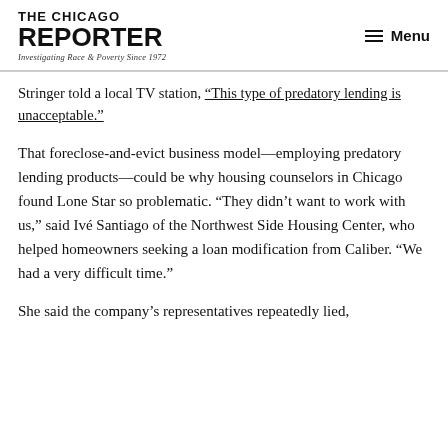THE CHICAGO REPORTER — Investigating Race & Poverty Since 1972 | Menu
Stringer told a local TV station, “This type of predatory lending is unacceptable.”
That foreclose-and-evict business model—employing predatory lending products—could be why housing counselors in Chicago found Lone Star so problematic. “They didn’t want to work with us,” said Ivé Santiago of the Northwest Side Housing Center, who helped homeowners seeking a loan modification from Caliber. “We had a very difficult time.”
She said the company’s representatives repeatedly lied,